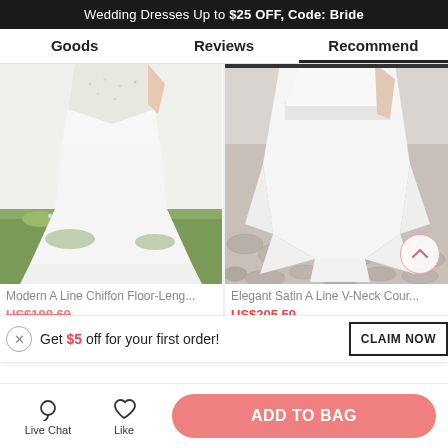Wedding Dresses Up to $25 OFF, Code: Bride
Goods   Reviews   Recommend
[Figure (photo): White chiffon A-line floor-length wedding dress on grass background]
[Figure (photo): Elegant satin A-line V-neck court train wedding dress on stone pavement background]
Modern A Line Chiffon Floor-Leng...
Elegant Satin A Line V-Neck Cour...
US$198.69  60% OFF
US$205.59  60% OFF
Get $5 off for your first order!
CLAIM NOW
Live Chat
Like
ADD TO BAG